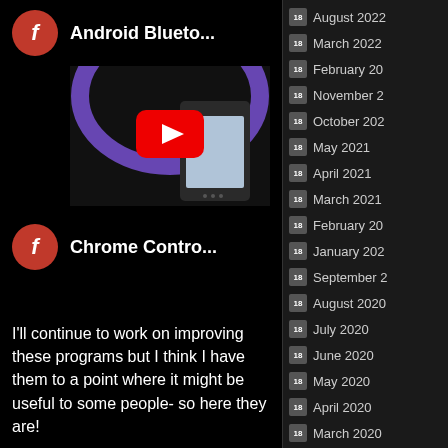[Figure (screenshot): Facebook-style post with avatar showing 'f' letter in red circle and title 'Android Blueto...' with a YouTube video thumbnail below showing a phone and play button]
[Figure (screenshot): Facebook-style post with avatar showing 'f' letter in red circle and title 'Chrome Contro...']
I'll continue to work on improving these programs but I think I have them to a point where it might be useful to some people- so here they are!
August 2022
March 2022
February 20
November 2
October 202
May 2021
April 2021
March 2021
February 20
January 202
September 2
August 2020
July 2020
June 2020
May 2020
April 2020
March 2020
February 20
January 202
August 2019